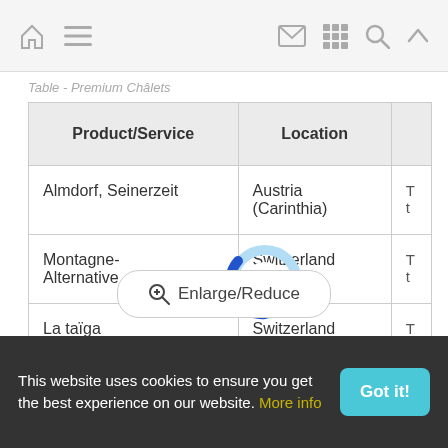Navigation bar with home, menu, mail, grid, search, and up icons
Table - Premium Châlets
| Product/Service | Location |  |
| --- | --- | --- |
| Almdorf, Seinerzeit | Austria (Carinthia) | T t |
| Montagne-Alternative | Switzerland | T t |
| La taïga | Switzerland | T t |
[Figure (other): Loading spinner / activity indicator circle, light blue ring with dark blue partial arc]
Enlarge/Reduce
This website uses cookies to ensure you get the best experience on our website. More info
Got it!